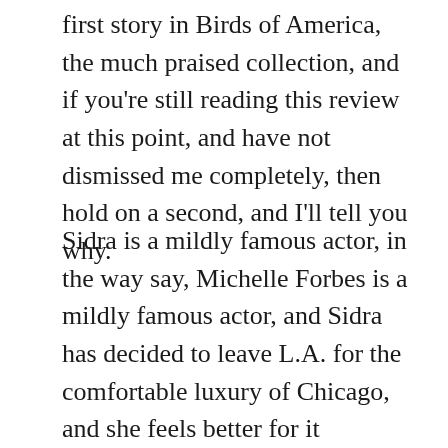first story in Birds of America, the much praised collection, and if you're still reading this review at this point, and have not dismissed me completely, then hold on a second, and I'll tell you why.
Sidra is a mildly famous actor, in the way say, Michelle Forbes is a mildly famous actor, and Sidra has decided to leave L.A. for the comfortable luxury of Chicago, and she feels better for it immediately.  She becomes our hero and a lonely woman at the very moment we find out that she's living in a run down motel, eating, sleeping and watching the outside world